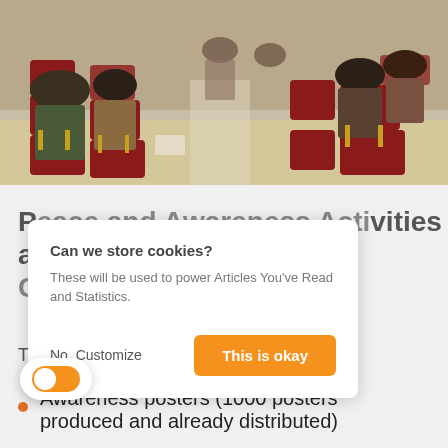[Figure (photo): A meeting or training session with people seated in red chairs in a hall, viewed from the back of the room.]
Peace and Awareness Activities and Conflict Prevention
The KVPD produces:
Awareness posters (1000 posters produced and already distributed)